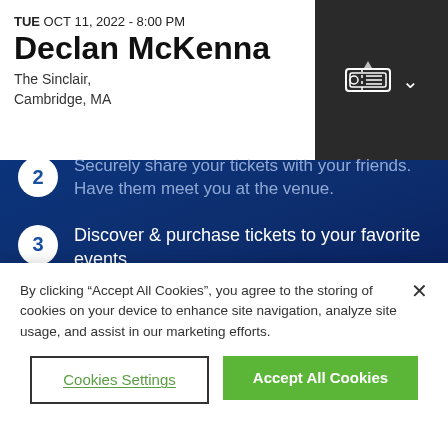TUE OCT 11, 2022 - 8:00 PM
Declan McKenna
The Sinclair,
Cambridge, MA
Securely share your tickets with your friends. Have them meet you at the venue.
Discover & purchase tickets to your favorite events.
Post your event memories with commemorative tickets, photo collages, and more.
By clicking “Accept All Cookies”, you agree to the storing of cookies on your device to enhance site navigation, analyze site usage, and assist in our marketing efforts.
Cookies Settings
Accept All Cookies